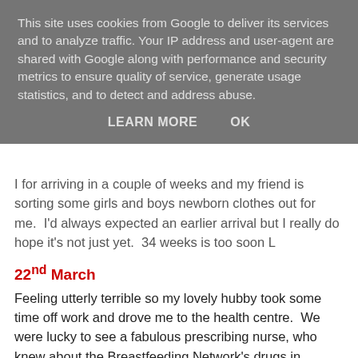This site uses cookies from Google to deliver its services and to analyze traffic. Your IP address and user-agent are shared with Google along with performance and security metrics to ensure quality of service, generate usage statistics, and to detect and address abuse.
LEARN MORE   OK
I for arriving in a couple of weeks and my friend is sorting some girls and boys newborn clothes out for me.  I'd always expected an earlier arrival but I really do hope it's not just yet.  34 weeks is too soon L
22nd March
Feeling utterly terrible so my lovely hubby took some time off work and drove me to the health centre.  We were lucky to see a fabulous prescribing nurse, who knew about the Breastfeeding Network's drugs in breastmilk line (http://www.breastfeedingnetwork.org.uk/drugs-in-breastmilk.html) and was able to ensure that what I was given was safe for both breastfeeding and in pregnancy! She said that I was in fact right, I had a serious ear infection